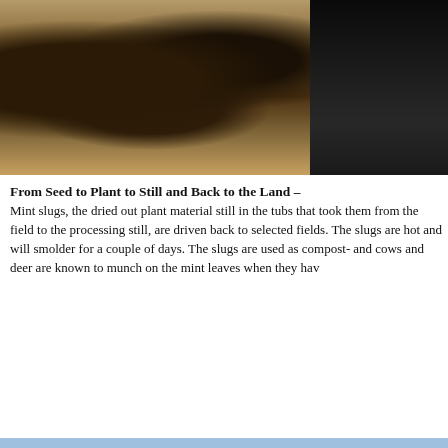[Figure (photo): Large pile of dark mint slugs (dried plant material) spread across a field with golden wheat stubble background. A second darker photo is partially visible on the right side.]
From Seed to Plant to Still and Back to the Land –
Mint slugs, the dried out plant material still in the tubs that took them from the field to the processing still, are driven back to selected fields. The slugs are hot and will smolder for a couple of days. The slugs are used as compost and cows and deer are known to munch on the mint leaves when they ha
[Figure (photo): Two workers standing in front of an overturned yellow processing tub/container in a field. A third person is visible in the background. A second photo on the right shows a tractor working in a field with dark compost material.]